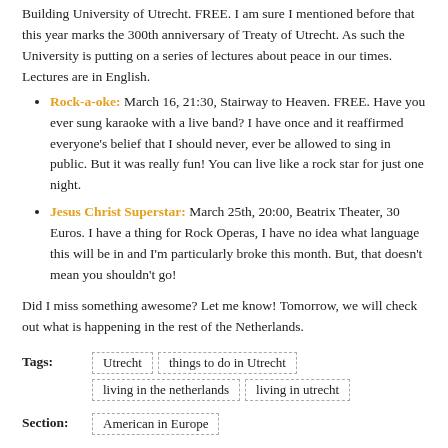Building University of Utrecht. FREE. I am sure I mentioned before that this year marks the 300th anniversary of Treaty of Utrecht. As such the University is putting on a series of lectures about peace in our times. Lectures are in English.
Rock-a-oke: March 16, 21:30, Stairway to Heaven. FREE. Have you ever sung karaoke with a live band? I have once and it reaffirmed everyone's belief that I should never, ever be allowed to sing in public. But it was really fun! You can live like a rock star for just one night.
Jesus Christ Superstar: March 25th, 20:00, Beatrix Theater, 30 Euros. I have a thing for Rock Operas, I have no idea what language this will be in and I'm particularly broke this month. But, that doesn't mean you shouldn't go!
Did I miss something awesome? Let me know! Tomorrow, we will check out what is happening in the rest of the Netherlands.
Tags: Utrecht | things to do in Utrecht | living in the netherlands | living in utrecht
Section: American in Europe